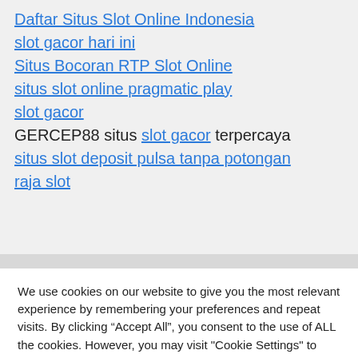Daftar Situs Slot Online Indonesia
slot gacor hari ini
Situs Bocoran RTP Slot Online
situs slot online pragmatic play
slot gacor
GERCEP88 situs slot gacor terpercaya
situs slot deposit pulsa tanpa potongan
raja slot
We use cookies on our website to give you the most relevant experience by remembering your preferences and repeat visits. By clicking “Accept All”, you consent to the use of ALL the cookies. However, you may visit "Cookie Settings" to provide a controlled consent.
Cookie Settings | Accept All